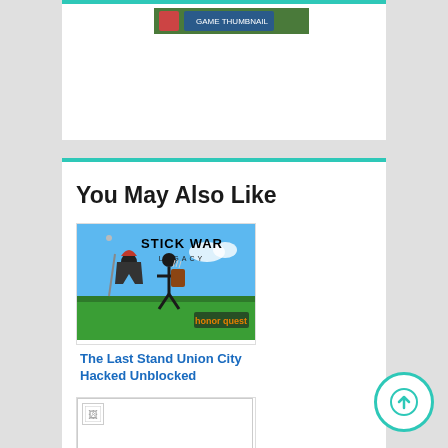[Figure (screenshot): Top card with teal border and a small game thumbnail image]
You May Also Like
[Figure (screenshot): Stick War Legacy game cover image showing armored stick figures with spear and bow on a green field, with 'STICK WAR LEGACY' title text and 'honor quest' text]
The Last Stand Union City Hacked Unblocked
[Figure (screenshot): Second game card with broken/missing image placeholder]